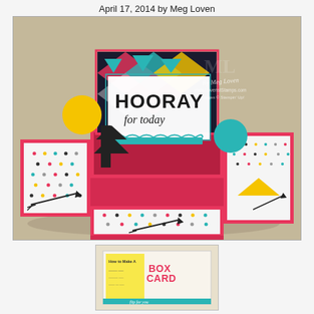April 17, 2014 by Meg Loven
[Figure (photo): A colorful pop-up box card opened flat showing pink card base with patterned panels, featuring 'HOORAY for today' stamped sentiment, geometric patterned paper inserts with triangles and chevrons in teal, yellow, black and white, and polka dot panels with arrow stamps. Watermark reads 'By Meg Loven www.LovenstStamps.com Images © Stampin Up']
[Figure (photo): Small thumbnail image showing a tutorial card titled 'How to Make A BOX CARD' with yellow and teal accents and instructional text.]